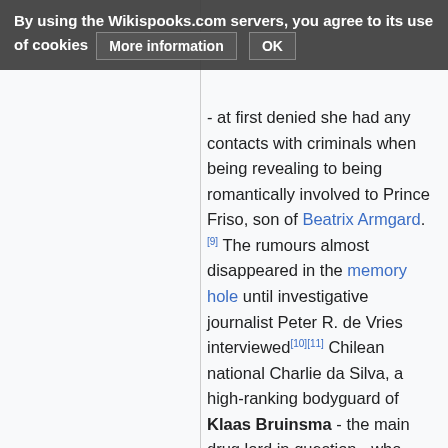By using the Wikispooks.com servers, you agree to its use of cookies   More information   OK
- at first denied she had any contacts with criminals when being revealing to being romantically involved to Prince Friso, son of Beatrix Armgard.[9] The rumours almost disappeared in the memory hole until investigative journalist Peter R. de Vries interviewed[10][11] Chilean national Charlie da Silva, a high-ranking bodyguard of Klaas Bruinsma - the main drug lord in question - who revealed she lied about how she knew Bruinsma and how close - intense lovers in 1989 and 1990 - they were. Bruinsma was already at that point the leading boss for drug trafficking in Europe.[12]